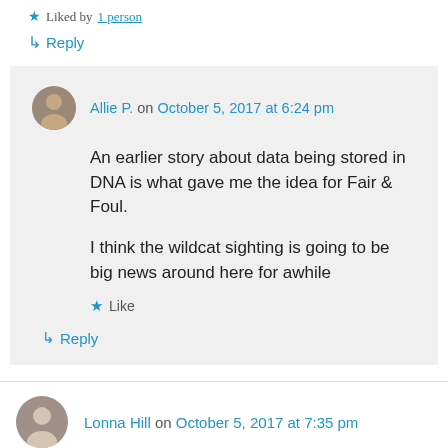★ Liked by 1 person
↳ Reply
Allie P. on October 5, 2017 at 6:24 pm
An earlier story about data being stored in DNA is what gave me the idea for Fair & Foul.
I think the wildcat sighting is going to be big news around here for awhile
★ Like
↳ Reply
Lonna Hill on October 5, 2017 at 7:35 pm